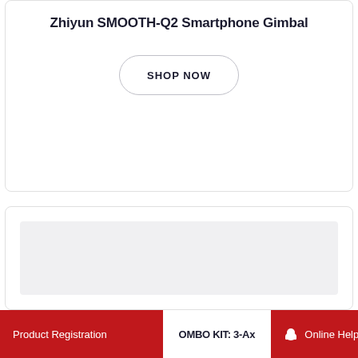Zhiyun SMOOTH-Q2 Smartphone Gimbal
SHOP NOW
[Figure (photo): Light gray placeholder image area for a product photo]
Product Registration   OMBO KIT: 3-Ax   Online Help